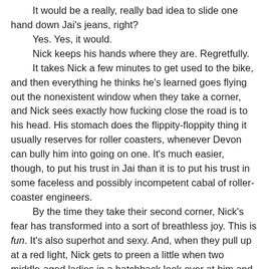It would be a really, really bad idea to slide one hand down Jai's jeans, right?
	Yes. Yes, it would.
	Nick keeps his hands where they are. Regretfully.
	It takes Nick a few minutes to get used to the bike, and then everything he thinks he's learned goes flying out the nonexistent window when they take a corner, and Nick sees exactly how fucking close the road is to his head. His stomach does the flippity-floppity thing it usually reserves for roller coasters, whenever Devon can bully him into going on one. It's much easier, though, to put his trust in Jai than it is to put his trust in some faceless and possibly incompetent cabal of roller-coaster engineers.
	By the time they take their second corner, Nick's fear has transformed into a sort of breathless joy. This is fun. It's also superhot and sexy. And, when they pull up at a red light, Nick gets to preen a little when two middle-aged ladies in a hatchback look over at him and Jai enviously. Also lustfully. Because Jai is hot as fuck. That's, like, an objective scientific truth, the same as gravity. Nick doesn't know how either one works exactly, but they're both demonstrable facts.
	And, behind his helmet, Nick could be hot as fuck too,